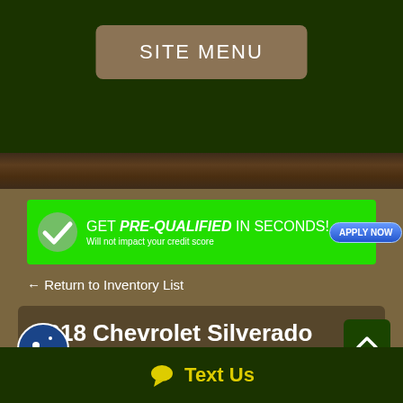SITE MENU
[Figure (infographic): Green pre-qualification banner with checkmark: GET PRE-QUALIFIED IN SECONDS! Will not impact your credit score. APPLY NOW button.]
← Return to Inventory List
2018 Chevrolet Silverado 3500HD WORK TRUCK REG CAB 4X4 DIESEL FLATBED DRW LWB
Text Us